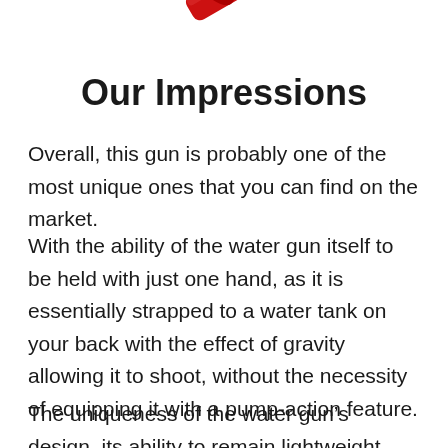[Figure (illustration): Partial red water gun illustration cropped at top of page]
Our Impressions
Overall, this gun is probably one of the most unique ones that you can find on the market.
With the ability of the water gun itself to be held with just one hand, as it is essentially strapped to a water tank on your back with the effect of gravity allowing it to shoot, without the necessity of equipping it with a pump-action feature.
The uniqueness of the water gun’s design, its ability to remain lightweight even in spite of one